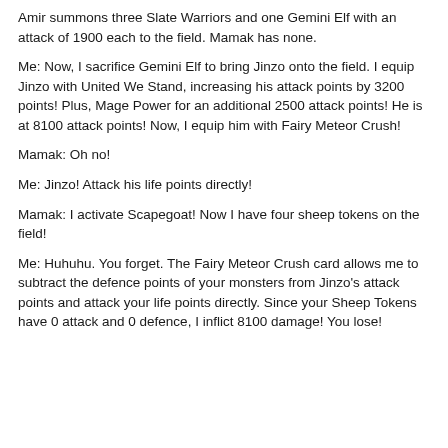Amir summons three Slate Warriors and one Gemini Elf with an attack of 1900 each to the field. Mamak has none.
Me: Now, I sacrifice Gemini Elf to bring Jinzo onto the field. I equip Jinzo with United We Stand, increasing his attack points by 3200 points! Plus, Mage Power for an additional 2500 attack points! He is at 8100 attack points! Now, I equip him with Fairy Meteor Crush!
Mamak: Oh no!
Me: Jinzo! Attack his life points directly!
Mamak: I activate Scapegoat! Now I have four sheep tokens on the field!
Me: Huhuhu. You forget. The Fairy Meteor Crush card allows me to subtract the defence points of your monsters from Jinzo's attack points and attack your life points directly. Since your Sheep Tokens have 0 attack and 0 defence, I inflict 8100 damage! You lose!